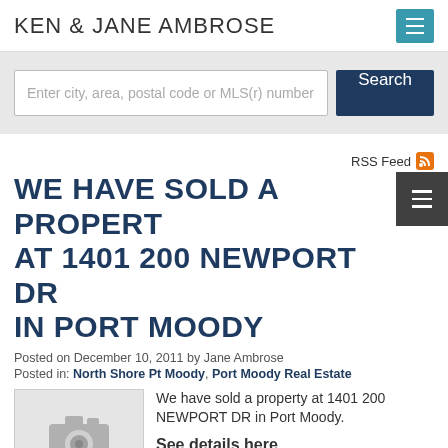KEN & JANE AMBROSE
Enter city, area, postal code or MLS(r) number
RSS Feed
WE HAVE SOLD A PROPERTY AT 1401 200 NEWPORT DR IN PORT MOODY
Posted on December 10, 2011 by Jane Ambrose
Posted in: North Shore Pt Moody, Port Moody Real Estate
[Figure (photo): Placeholder property photo with camera icon]
We have sold a property at 1401 200 NEWPORT DR in Port Moody.
See details here